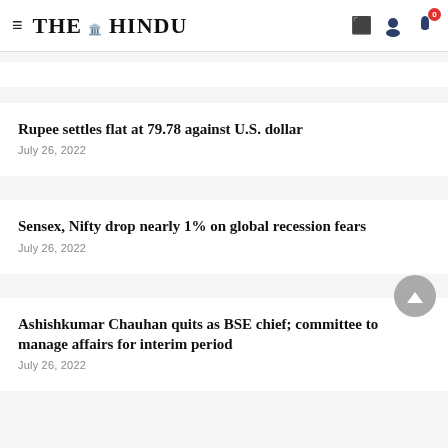THE HINDU
Rupee settles flat at 79.78 against U.S. dollar
July 26, 2022
Sensex, Nifty drop nearly 1% on global recession fears
July 26, 2022
Ashishkumar Chauhan quits as BSE chief; committee to manage affairs for interim period
July 26, 2022